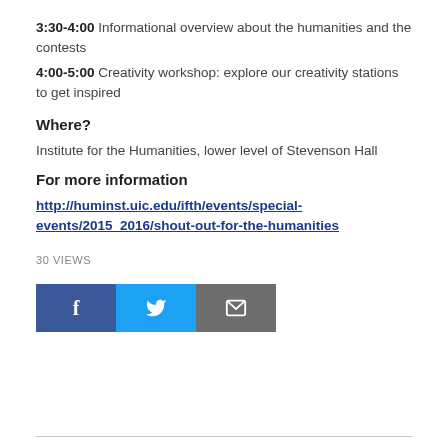3:30-4:00 Informational overview about the humanities and the contests
4:00-5:00 Creativity workshop: explore our creativity stations to get inspired
Where?
Institute for the Humanities, lower level of Stevenson Hall
For more information
http://huminst.uic.edu/ifth/events/special-events/2015_2016/shout-out-for-the-humanities
30 VIEWS
[Figure (other): Social sharing buttons: Facebook (dark blue), Twitter (light blue), Email (gray)]